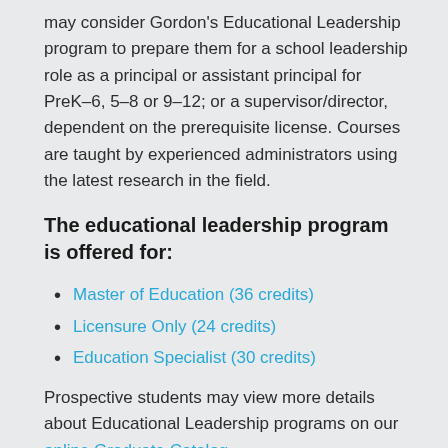may consider Gordon's Educational Leadership program to prepare them for a school leadership role as a principal or assistant principal for PreK–6, 5–8 or 9–12; or a supervisor/director, dependent on the prerequisite license. Courses are taught by experienced administrators using the latest research in the field.
The educational leadership program is offered for:
Master of Education (36 credits)
Licensure Only (24 credits)
Education Specialist (30 credits)
Prospective students may view more details about Educational Leadership programs on our online Graduate Catalog.